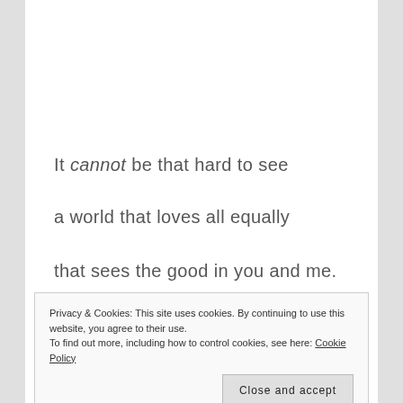It cannot be that hard to see
a world that loves all equally
that sees the good in you and me.
Privacy & Cookies: This site uses cookies. By continuing to use this website, you agree to their use.
To find out more, including how to control cookies, see here: Cookie Policy
Close and accept
Some say that I'm a dreamer. True.